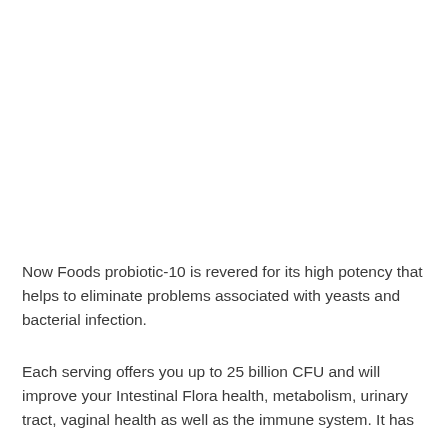Now Foods probiotic-10 is revered for its high potency that helps to eliminate problems associated with yeasts and bacterial infection.
Each serving offers you up to 25 billion CFU and will improve your Intestinal Flora health, metabolism, urinary tract, vaginal health as well as the immune system. It has